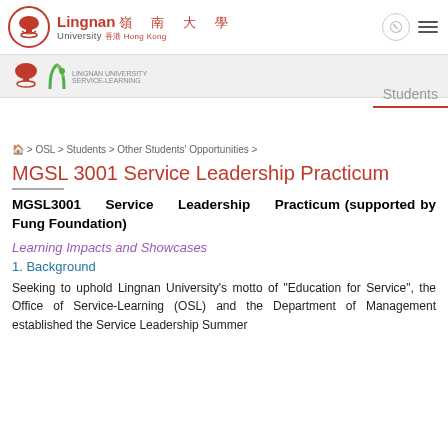Lingnan 嶺南大學 University 香港 Hong Kong
[Figure (logo): Lingnan University logo with red circular emblem and Chinese/English text, plus navigation icons]
[Figure (logo): Sub-header with Lingnan e-learning logos]
Students
🏠 > OSL > Students > Other Students' Opportunities >
MGSL 3001 Service Leadership Practicum
MGSL3001 Service Leadership Practicum (supported by Fung Foundation)
Learning Impacts and Showcases
1. Background
Seeking to uphold Lingnan University's motto of "Education for Service", the Office of Service-Learning (OSL) and the Department of Management established the Service Leadership Summer